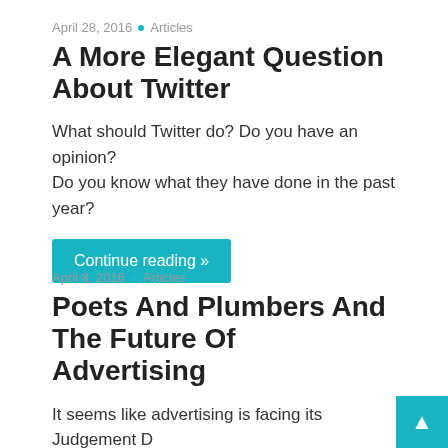April 28, 2016 • Articles
A More Elegant Question About Twitter
What should Twitter do? Do you have an opinion? Do you know what they have done in the past year?
Continue reading »
April 8, 2016 • Articles
Poets And Plumbers And The Future Of Advertising
It seems like advertising is facing its Judgement D... Advertising is not going anywhere, but like every